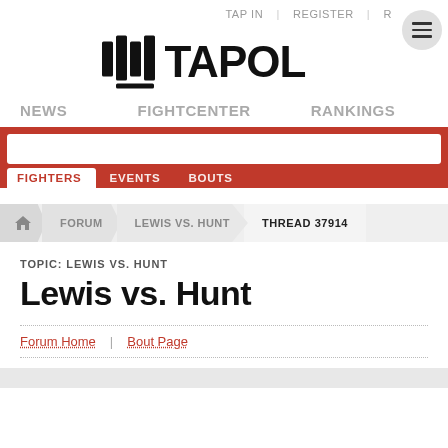TAP IN | REGISTER | R
[Figure (logo): Tapology logo with vertical bar icons and TAPOL text]
NEWS   FIGHTCENTER   RANKINGS
[Figure (screenshot): Red search bar with white input area and tabs: FIGHTERS, EVENTS, BOUTS]
FORUM > LEWIS VS. HUNT > THREAD 37914
TOPIC: LEWIS VS. HUNT
Lewis vs. Hunt
Forum Home | Bout Page